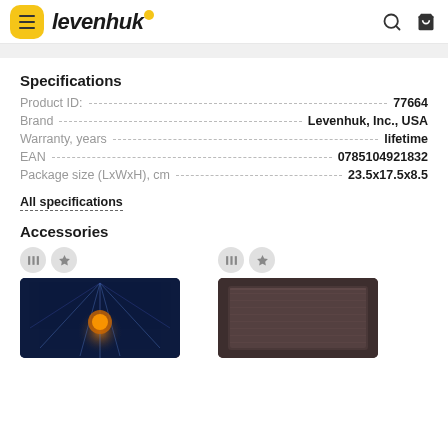levenhuk
Specifications
| Field | Value |
| --- | --- |
| Product ID: | 77664 |
| Brand | Levenhuk, Inc., USA |
| Warranty, years | lifetime |
| EAN | 0785104921832 |
| Package size (LxWxH), cm | 23.5x17.5x8.5 |
All specifications
Accessories
[Figure (photo): Accessory product 1 - space themed image]
[Figure (photo): Accessory product 2 - dark textile/case]